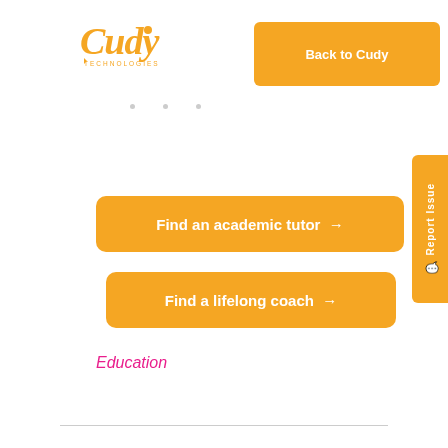[Figure (logo): Cudy Technologies logo in orange with cursor icon]
Back to Cudy
· · ·
Find an academic tutor →
Find a lifelong coach →
Education
Report Issue